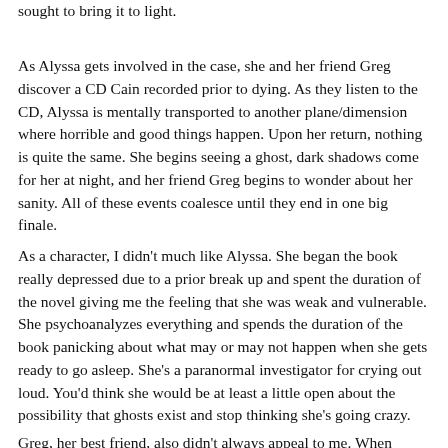sought to bring it to light.
As Alyssa gets involved in the case, she and her friend Greg discover a CD Cain recorded prior to dying. As they listen to the CD, Alyssa is mentally transported to another plane/dimension where horrible and good things happen. Upon her return, nothing is quite the same. She begins seeing a ghost, dark shadows come for her at night, and her friend Greg begins to wonder about her sanity. All of these events coalesce until they end in one big finale.
As a character, I didn't much like Alyssa. She began the book really depressed due to a prior break up and spent the duration of the novel giving me the feeling that she was weak and vulnerable. She psychoanalyzes everything and spends the duration of the book panicking about what may or may not happen when she gets ready to go asleep. She's a paranormal investigator for crying out loud. You'd think she would be at least a little open about the possibility that ghosts exist and stop thinking she's going crazy.
Greg, her best friend, also didn't always appeal to me. When